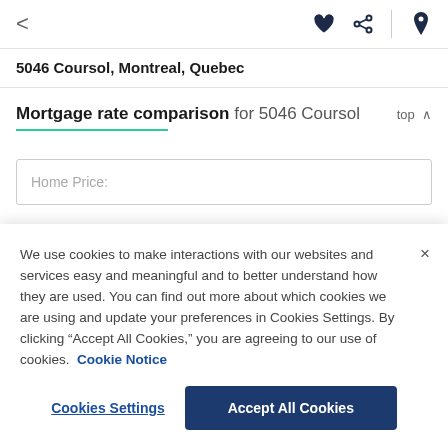< ♥ share ⊙
5046 Coursol, Montreal, Quebec
Mortgage rate comparison for 5046 Coursol  top ^
Home Price:
We use cookies to make interactions with our websites and services easy and meaningful and to better understand how they are used. You can find out more about which cookies we are using and update your preferences in Cookies Settings. By clicking "Accept All Cookies," you are agreeing to our use of cookies.  Cookie Notice
Cookies Settings    Accept All Cookies